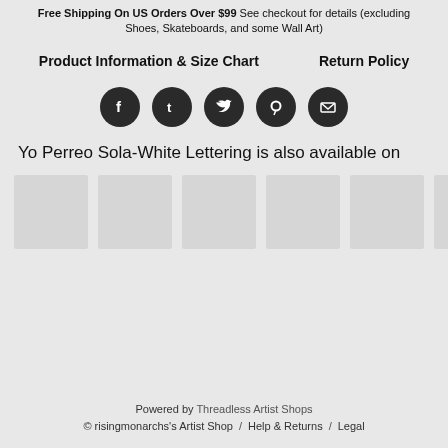Free Shipping On US Orders Over $99 See checkout for details (excluding Shoes, Skateboards, and some Wall Art)
Product Information & Size Chart    Return Policy
[Figure (other): Social sharing icons: Facebook, Tumblr, Twitter, Pinterest, Email — five dark circular buttons in a row]
Yo Perreo Sola-White Lettering is also available on
[Figure (other): Six product thumbnail placeholder images in a horizontal row]
Powered by Threadless Artist Shops © risingmonarchs's Artist Shop / Help & Returns / Legal